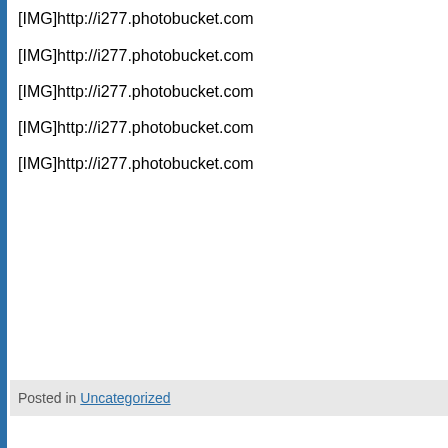[IMG]http://i277.photobucket.com
[IMG]http://i277.photobucket.com
[IMG]http://i277.photobucket.com
[IMG]http://i277.photobucket.com
[IMG]http://i277.photobucket.com
Posted in Uncategorized
My Build - Part I
Posted 09/25/2011 at 08:03 PM by WetShepherd
As good a place as any to post my build 😊 Sorry for the mis-matched image sizes. Photobucket insists they
[Figure (illustration): Illustration of a sailing ship with red sails on water]
WetShepherd
Registered Memb